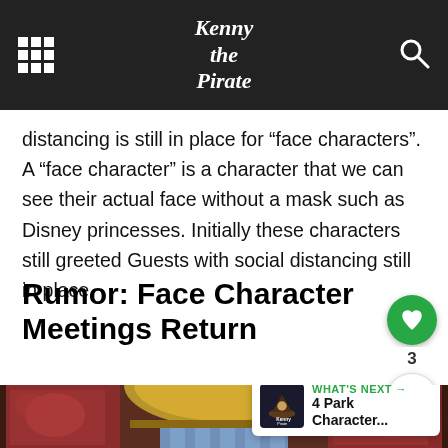Kenny the Pirate
distancing is still in place for “face characters”. A “face character” is a character that we can see their actual face without a mask such as Disney princesses. Initially these characters still greeted Guests with social distancing still in place.
Rumor: Face Character Meetings Return
[Figure (photo): Decorative curtains with floral brocade fabric in red/gold tones, with blue pleated fabric in the center, suggesting a character meet-and-greet area backdrop.]
WHAT'S NEXT → 4 Park Character...